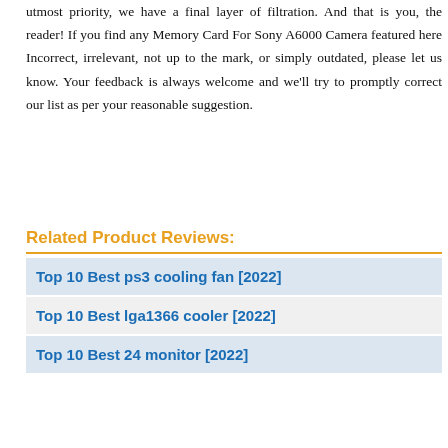utmost priority, we have a final layer of filtration. And that is you, the reader! If you find any Memory Card For Sony A6000 Camera featured here Incorrect, irrelevant, not up to the mark, or simply outdated, please let us know. Your feedback is always welcome and we'll try to promptly correct our list as per your reasonable suggestion.
Related Product Reviews:
Top 10 Best ps3 cooling fan [2022]
Top 10 Best lga1366 cooler [2022]
Top 10 Best 24 monitor [2022]